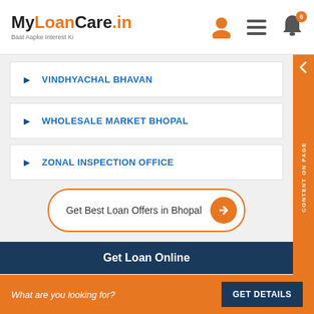MyLoanCare.in - Baat Aapke Interest Ki
VINDHYACHAL BHAVAN
WHOLESALE MARKET BHOPAL
ZONAL INSPECTION OFFICE
Get Best Loan Offers in Bhopal
Get Loan Online
[Figure (illustration): Illustration of loan documents with rupee symbol, coins, and a calculator]
What are you looking for? GET DETAILS